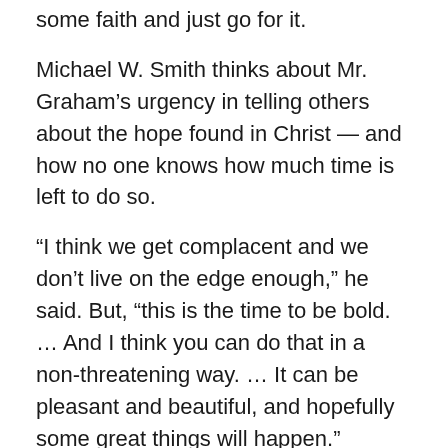some faith and just go for it.
Michael W. Smith thinks about Mr. Graham’s urgency in telling others about the hope found in Christ — and how no one knows how much time is left to do so.
“I think we get complacent and we don’t live on the edge enough,” he said. But, “this is the time to be bold. … And I think you can do that in a non-threatening way. … It can be pleasant and beautiful, and hopefully some great things will happen.”
Smith reminds others that God can use them regardless of their shortcomings. My Hope isn’t about Mr. Graham or about the Gospel-sharing